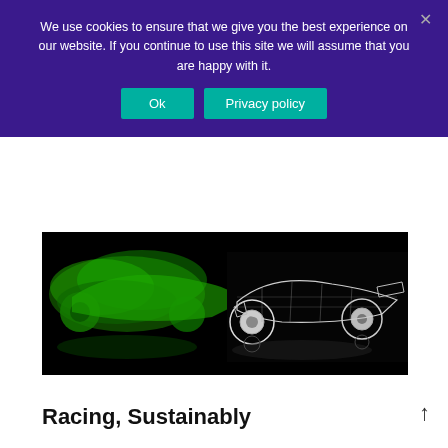We use cookies to ensure that we give you the best experience on our website. If you continue to use this site we will assume that you are happy with it.
Ok
Privacy policy
[Figure (photo): A composite image of a Formula 1 racing car split in two halves: the left side shows the car rendered as green smoke/vapor, while the right side shows a wireframe/3D model render in white/grey, both against a black background with reflections on the surface.]
Racing, Sustainably